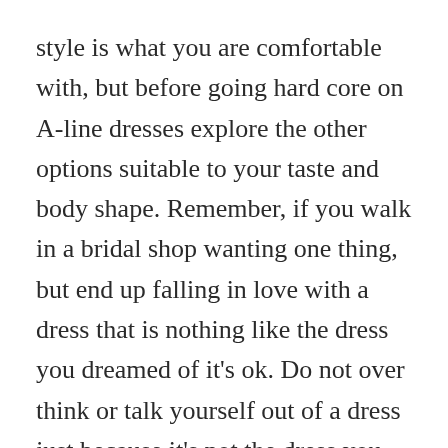style is what you are comfortable with, but before going hard core on A-line dresses explore the other options suitable to your taste and body shape. Remember, if you walk in a bridal shop wanting one thing, but end up falling in love with a dress that is nothing like the dress you dreamed of it's ok. Do not over think or talk yourself out of a dress just because it's not the dress you created for yourself in your head.
I work in the bridal industry and my